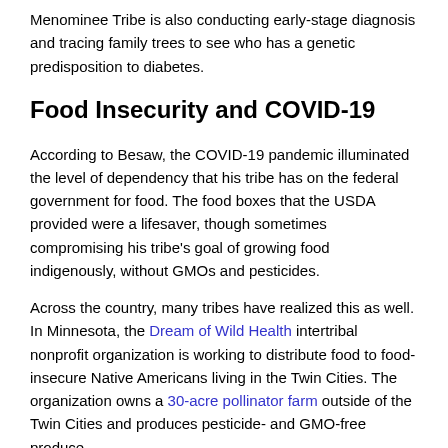Menominee Tribe is also conducting early-stage diagnosis and tracing family trees to see who has a genetic predisposition to diabetes.
Food Insecurity and COVID-19
According to Besaw, the COVID-19 pandemic illuminated the level of dependency that his tribe has on the federal government for food. The food boxes that the USDA provided were a lifesaver, though sometimes compromising his tribe's goal of growing food indigenously, without GMOs and pesticides.
Across the country, many tribes have realized this as well. In Minnesota, the Dream of Wild Health intertribal nonprofit organization is working to distribute food to food-insecure Native Americans living in the Twin Cities. The organization owns a 30-acre pollinator farm outside of the Twin Cities and produces pesticide- and GMO-free produce.
Throughout the Dream of Wild Health's history, the organization